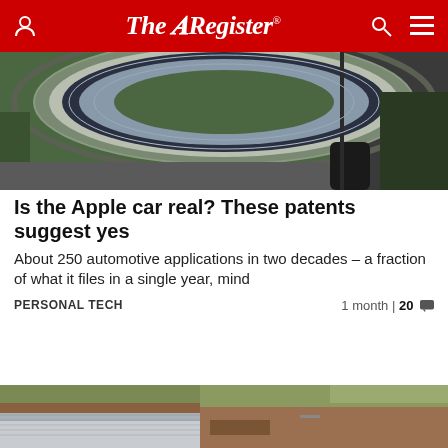The Register
[Figure (photo): Aerial view of Apple Park headquarters, the circular spaceship building surrounded by trees and roads]
Is the Apple car real? These patents suggest yes
About 250 automotive applications in two decades – a fraction of what it files in a single year, mind
PERSONAL TECH   1 month | 20 💬
[Figure (photo): Aerial view of a large warehouse or data center under construction on flat land with surrounding green fields]